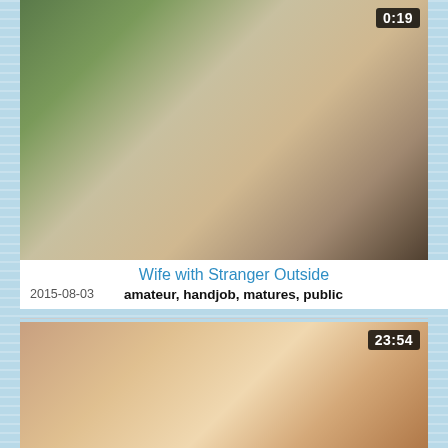[Figure (photo): Video thumbnail showing two people outdoors, duration badge 0:19 in top-right corner]
Wife with Stranger Outside
2015-08-03   amateur, handjob, matures, public
[Figure (photo): Video thumbnail showing a blonde woman, duration badge 23:54 in top-right corner]